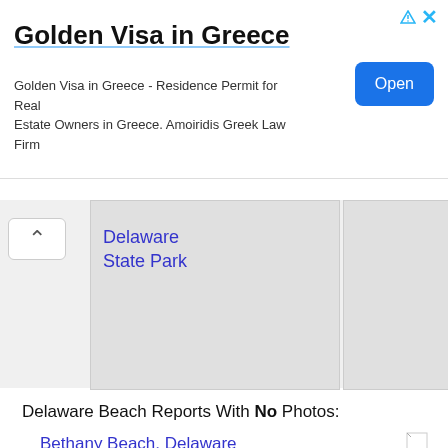[Figure (screenshot): Advertisement banner for Golden Visa in Greece with Open button]
Golden Visa in Greece
Golden Visa in Greece - Residence Permit for Real Estate Owners in Greece. Amoiridis Greek Law Firm
[Figure (screenshot): Map area showing Delaware State Park card with chevron button]
Delaware State Park
Delaware Beach Reports With No Photos:
Bethany Beach, Delaware
Indian River Inlet North and South, Delaware
Coin Beach (Conquest Beach) Delaware